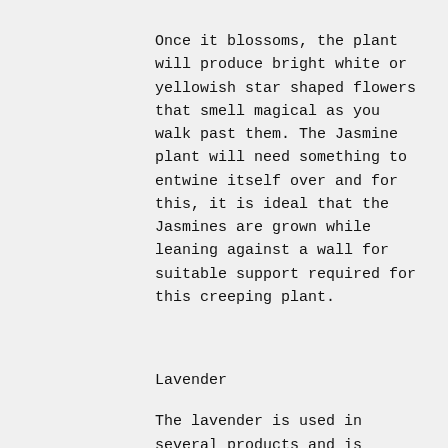Once it blossoms, the plant will produce bright white or yellowish star shaped flowers that smell magical as you walk past them. The Jasmine plant will need something to entwine itself over and for this, it is ideal that the Jasmines are grown while leaning against a wall for suitable support required for this creeping plant.
Lavender
The lavender is used in several products and is admired for its calming aroma. However, this special herb needs extra care than most plants. Lavender needs a lot of room, so a bigger pot is the right choice to avoid the individual flowers being crammed.
A lot of sunlight is also needed so try placing it next